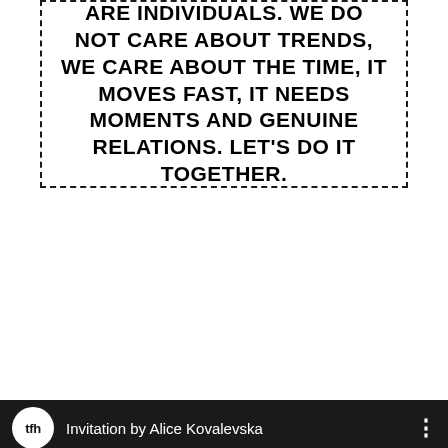ARE INDIVIDUALS. WE DO NOT CARE ABOUT TRENDS, WE CARE ABOUT THE TIME, IT MOVES FAST, IT NEEDS MOMENTS AND GENUINE RELATIONS. LET'S DO IT TOGETHER.
[Figure (screenshot): YouTube video embed showing a dark thumbnail with a person, channel icon 'tfh', title 'Invitation by Alice Kovalevska', play button, and 'Chat with us' bubble.]